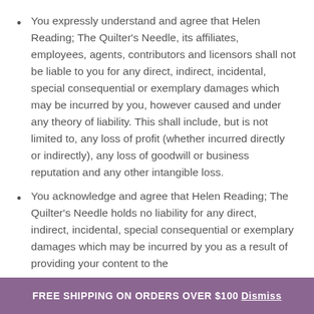You expressly understand and agree that Helen Reading; The Quilter's Needle, its affiliates, employees, agents, contributors and licensors shall not be liable to you for any direct, indirect, incidental, special consequential or exemplary damages which may be incurred by you, however caused and under any theory of liability. This shall include, but is not limited to, any loss of profit (whether incurred directly or indirectly), any loss of goodwill or business reputation and any other intangible loss.
You acknowledge and agree that Helen Reading; The Quilter's Needle holds no liability for any direct, indirect, incidental, special consequential or exemplary damages which may be incurred by you as a result of providing your content to the
FREE SHIPPING ON ORDERS OVER $100 Dismiss